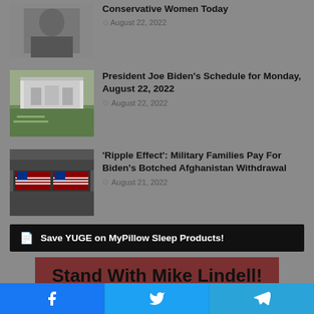[Figure (photo): Black and white portrait photo of a woman, partially visible at top]
Conservative Women Today
August 22, 2022
[Figure (photo): Photo of a white colonial-style house with green lawn]
President Joe Biden's Schedule for Monday, August 22, 2022
August 22, 2022
[Figure (photo): Photo of flag-draped coffins]
'Ripple Effect': Military Families Pay For Biden's Botched Afghanistan Withdrawal
August 21, 2022
Save YUGE on MyPillow Sleep Products!
[Figure (photo): Advertisement: Stand With Mike Lindell! Cancel culture can't win when the people speak. visit MyPillow today!]